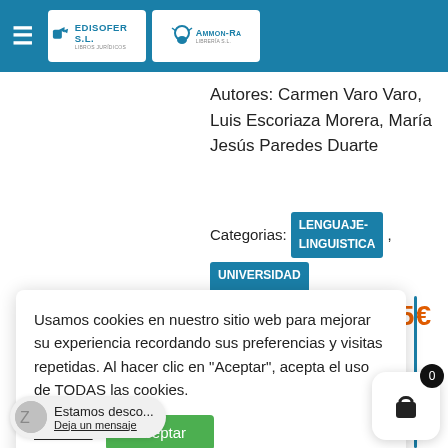EDISOFER S.L | AMMON-RA LIBRERÍA S.L
Autores: Carmen Varo Varo, Luis Escoriaza Morera, María Jesús Paredes Duarte
Categorias: LENGUAJE-LINGUISTICA , UNIVERSIDAD DE CADIZ
11.05€
Usamos cookies en nuestro sitio web para mejorar su experiencia recordando sus preferencias y visitas repetidas. Al hacer clic en "Aceptar", acepta el uso de TODAS las cookies.
Leer más
Aceptar
Estamos desco...
Deja un mensaje